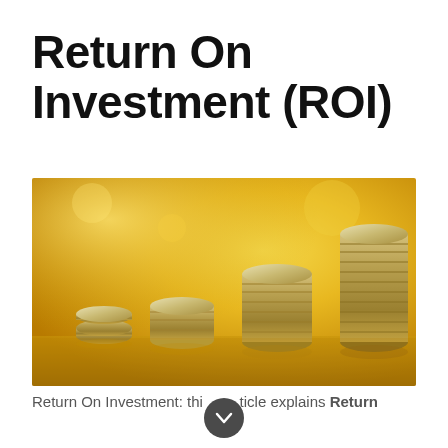Return On Investment (ROI)
[Figure (photo): Four stacks of coins of increasing height arranged left to right on a reflective golden surface, symbolizing growing return on investment.]
Return On Investment: this article explains Return